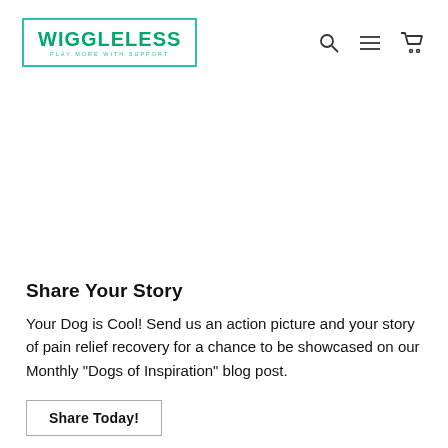WIGGLELESS PLAY MORE WITH SUPPORT
Share Your Story
Your Dog is Cool! Send us an action picture and your story of pain relief recovery for a chance to be showcased on our Monthly "Dogs of Inspiration" blog post.
Share Today!